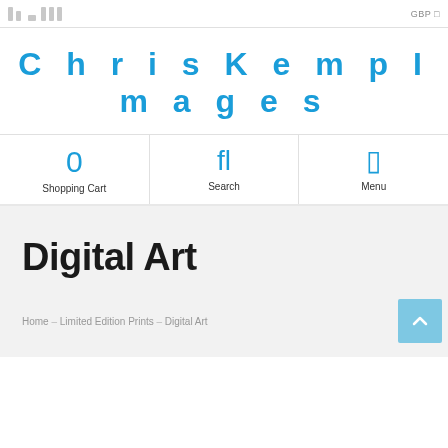GBP
ChrisKemplmages
[Figure (screenshot): Navigation icons row showing Shopping Cart (0), Search (fl icon), and Menu icons with labels below each]
Digital Art
Home → Limited Edition Prints → Digital Art